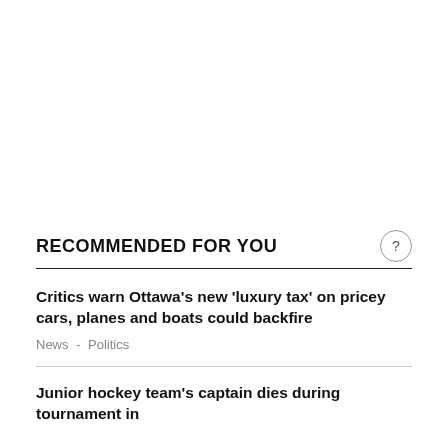RECOMMENDED FOR YOU
Critics warn Ottawa's new 'luxury tax' on pricey cars, planes and boats could backfire
News  -  Politics
Junior hockey team's captain dies during tournament in